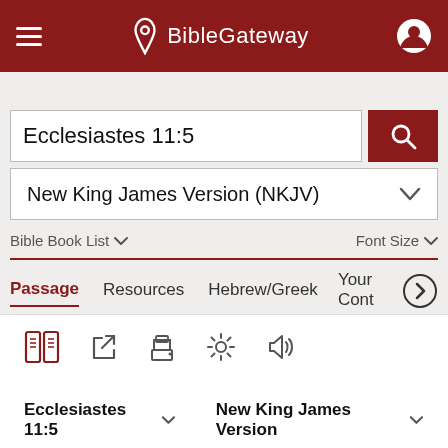BibleGateway
Ecclesiastes 11:5
New King James Version (NKJV)
Bible Book List   Font Size
Passage   Resources   Hebrew/Greek   Your Cont
Ecclesiastes 11:5   New King James Version